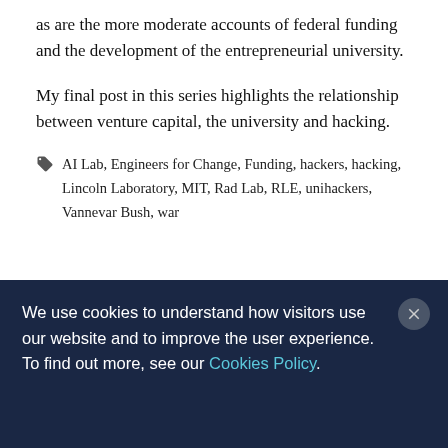as are the more moderate accounts of federal funding and the development of the entrepreneurial university.
My final post in this series highlights the relationship between venture capital, the university and hacking.
AI Lab, Engineers for Change, Funding, hackers, hacking, Lincoln Laboratory, MIT, Rad Lab, RLE, unihackers, Vannevar Bush, war
We use cookies to understand how visitors use our website and to improve the user experience. To find out more, see our Cookies Policy.